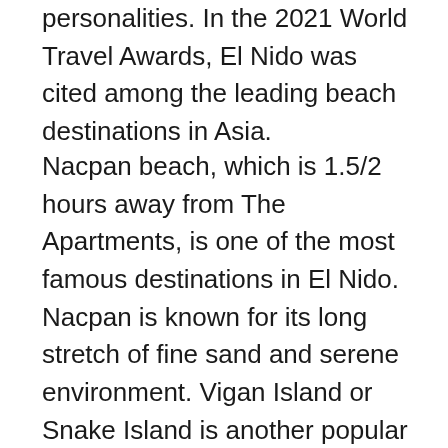personalities. In the 2021 World Travel Awards, El Nido was cited among the leading beach destinations in Asia.
Nacpan beach, which is 1.5/2  hours away from The Apartments, is one of the most famous destinations in El Nido. Nacpan is known for its long stretch of fine sand and serene environment. Vigan Island or Snake Island is another popular destination – known for its long sandbar shaped like a snake. Tourists who visit this spot often trek to a view deck to admire the landscape from a bird's eye view. Other mesmerizing beach destinations that are accessible from The Apartments are Lio Beach, Papaya Beach, Duli Beach, Sunset, Corong and many more.